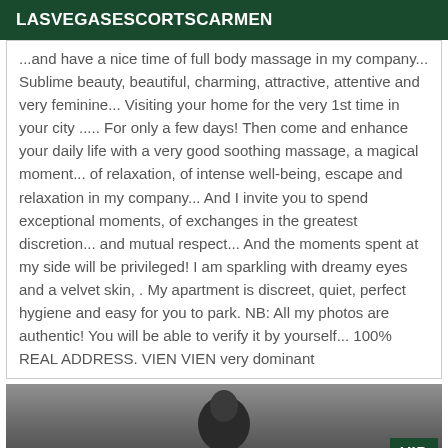LASVEGASESCORTSCARMEN
...time of full body massage in my company... Sublime beauty, beautiful, charming, attractive, attentive and very feminine... Visiting your home for the very 1st time in your city ..... For only a few days! Then come and enhance your daily life with a very good soothing massage, a magical moment... of relaxation, of intense well-being, escape and relaxation in my company... And I invite you to spend exceptional moments, of exchanges in the greatest discretion... and mutual respect... And the moments spent at my side will be privileged! I am sparkling with dreamy eyes and a velvet skin, . My apartment is discreet, quiet, perfect hygiene and easy for you to park. NB: All my photos are authentic! You will be able to verify it by yourself... 100% REAL ADDRESS. VIEN VIEN very dominant
[Figure (photo): Partial photo of a person with VIP badge overlay in bottom right corner]